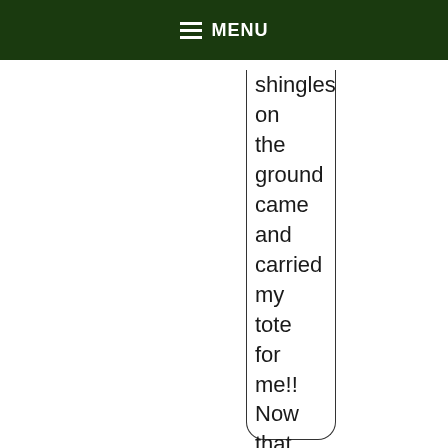MENU
shingles on the ground came and carried my tote for me!! Now that is a gentleman!